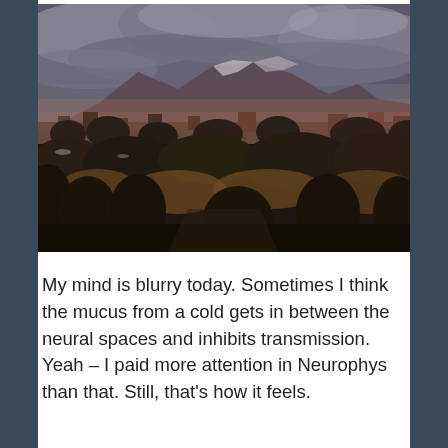[Figure (photo): Landscape photo showing a desert/southwestern scene with mountains in the background under a dramatic cloudy sky. In the middle ground is a town or neighborhood. The foreground shows scrubby desert vegetation and dry brush. The lighting suggests dusk or overcast conditions. Colors are muted browns, dark purples, and grey-blue.]
My mind is blurry today. Sometimes I think the mucus from a cold gets in between the neural spaces and inhibits transmission. Yeah – I paid more attention in Neurophys than that. Still, that's how it feels.